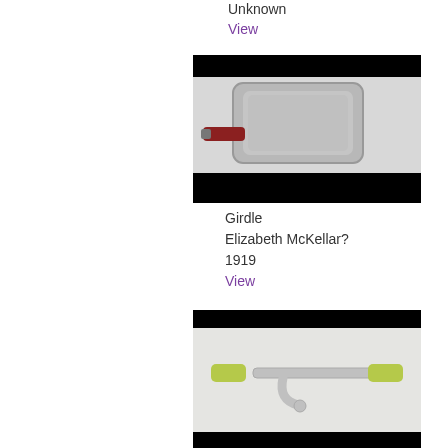Unknown
View
[Figure (photo): A square silver/chrome girdle (cooking pan) with a red handle, viewed from above on a white background.]
Girdle
Elizabeth McKellar?
1919
View
[Figure (photo): A chrome/silver corkscrew or kitchen tool with light green handles on a white background.]